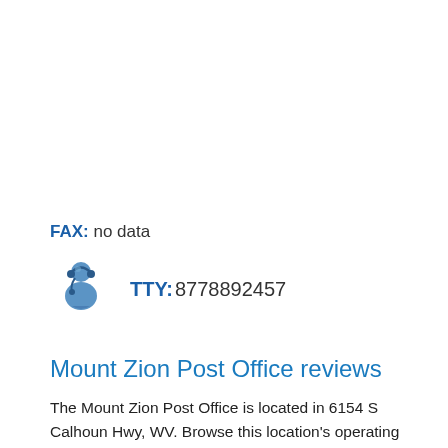FAX: no data
TTY: 8778892457
Mount Zion Post Office reviews
The Mount Zion Post Office is located in 6154 S Calhoun Hwy, WV. Browse this location's operating and mail collection hours along with address and contact information. You can also see